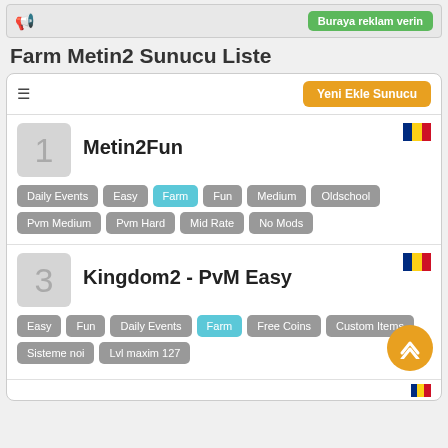Buraya reklam verin
Farm Metin2 Sunucu Liste
Yeni Ekle Sunucu
Metin2Fun
Daily Events, Easy, Farm, Fun, Medium, Oldschool, Pvm Medium, Pvm Hard, Mid Rate, No Mods
Kingdom2 - PvM Easy
Easy, Fun, Daily Events, Farm, Free Coins, Custom Items, Sisteme noi, Lvl maxim 127